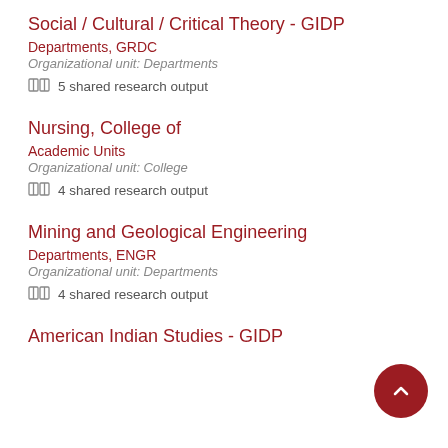Social / Cultural / Critical Theory - GIDP
Departments, GRDC
Organizational unit: Departments
5 shared research output
Nursing, College of
Academic Units
Organizational unit: College
4 shared research output
Mining and Geological Engineering
Departments, ENGR
Organizational unit: Departments
4 shared research output
American Indian Studies - GIDP